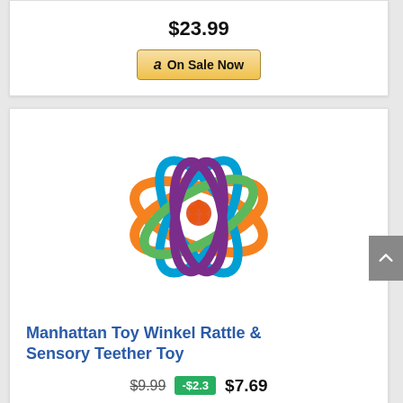$23.99
a On Sale Now
[Figure (photo): Manhattan Toy Winkel Rattle colorful interlinked loops toy]
Manhattan Toy Winkel Rattle & Sensory Teether Toy
$9.99  -$2.3  $7.69